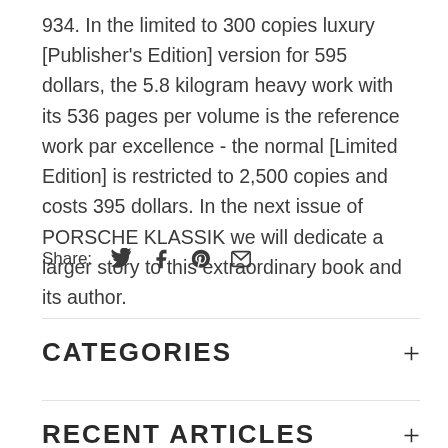934. In the limited to 300 copies luxury [Publisher's Edition] version for 595 dollars, the 5.8 kilogram heavy work with its 536 pages per volume is the reference work par excellence - the normal [Limited Edition] is restricted to 2,500 copies and costs 395 dollars. In the next issue of PORSCHE KLASSIK we will dedicate a larger story to this extraordinary book and its author.
Share: [twitter] [facebook] [pinterest] [email]
CATEGORIES +
RECENT ARTICLES +